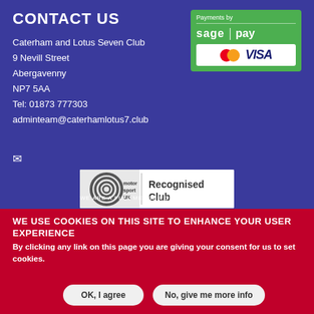CONTACT US
Caterham and Lotus Seven Club
9 Nevill Street
Abergavenny
NP7 5AA
Tel: 01873 777303
adminteam@caterhamlotus7.club
[Figure (logo): Sage Pay payment logo with MasterCard and VISA card logos on green background]
[Figure (logo): Motorsport UK Recognised Club badge]
WE ARE A FULL MEMBER OF MOTORSPORT UK
WE USE COOKIES ON THIS SITE TO ENHANCE YOUR USER EXPERIENCE
By clicking any link on this page you are giving your consent for us to set cookies.